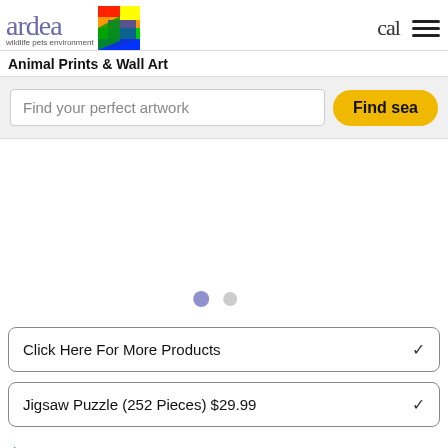[Figure (logo): Ardea wildlife pets environment logo with rainbow-colored bird graphic]
Animal Prints & Wall Art
Find your perfect artwork
Find sea
[Figure (other): Empty product image area with two carousel dots (active purple and inactive grey)]
Click Here For More Products
Jigsaw Puzzle (252 Pieces) $29.99
$29.99 fav